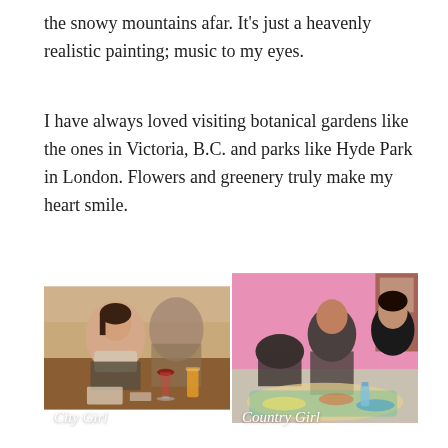the snowy mountains afar. It’s just a heavenly realistic painting; music to my eyes.
I have always loved visiting botanical gardens like the ones in Victoria, B.C. and parks like Hyde Park in London. Flowers and greenery truly make my heart smile.
[Figure (photo): Two side-by-side photos. Left photo labeled 'City Girl' shows a woman in a scarf sitting at a restaurant table with wine glasses and orange juice. Right photo labeled 'Country Girl' shows people sitting on the floor around a spread of food.]